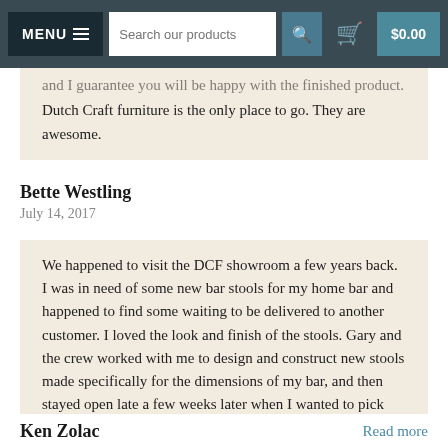MENU  Search our products  $0.00
and I guarantee you will be happy with the finished product. Dutch Craft furniture is the only place to go. They are awesome.
Bette Westling
July 14, 2017
We happened to visit the DCF showroom a few years back. I was in need of some new bar stools for my home bar and happened to find some waiting to be delivered to another customer. I loved the look and finish of the stools. Gary and the crew worked with me to design and construct new stools made specifically for the dimensions of my bar, and then stayed open late a few weeks later when I wanted to pick them up. Service, price and quality are second to none at DCF. I have many friends in the trades and they repeatedly...
Ken Zolac
Read more